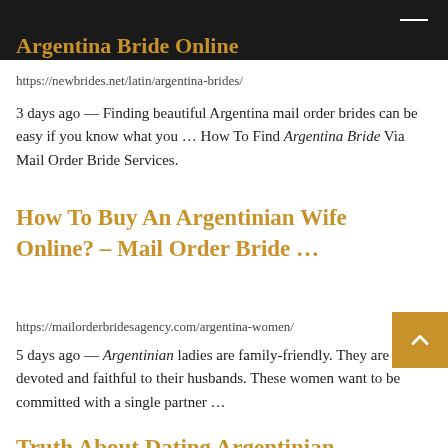Argentina Bride (partially visible, cut off at top)
https://newbrides.net/latin/argentina-brides/
3 days ago — Finding beautiful Argentina mail order brides can be easy if you know what you … How To Find Argentina Bride Via Mail Order Bride Services.
How To Buy An Argentinian Wife Online? – Mail Order Bride …
https://mailorderbridesagency.com/argentina-women/
5 days ago — Argentinian ladies are family-friendly. They are devoted and faithful to their husbands. These women want to be committed with a single partner …
Truth About Dating Argentinian (partially visible, cut off at bottom)